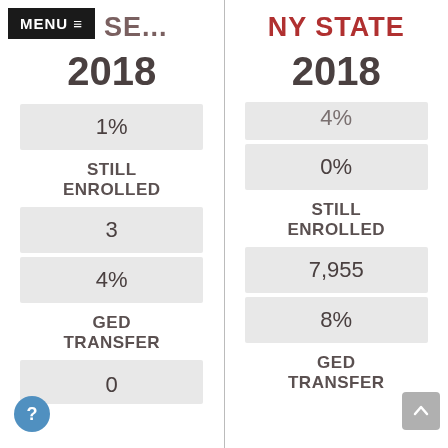MENU ≡ EN SE... | NY STATE
EN SE...
NY STATE
2018
2018
1%
4% (partially visible top)
0%
STILL ENROLLED
STILL ENROLLED
3
7,955
4%
8%
GED TRANSFER
GED TRANSFER
0